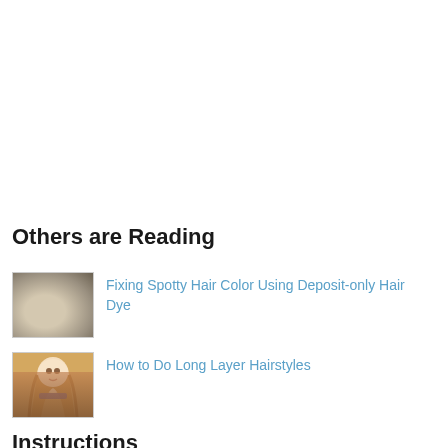Others are Reading
[Figure (photo): Thumbnail image of hands applying hair dye]
Fixing Spotty Hair Color Using Deposit-only Hair Dye
[Figure (photo): Thumbnail image of a woman with long layered hair]
How to Do Long Layer Hairstyles
Instructions